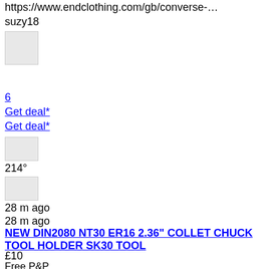https://www.endclothing.com/gb/converse-…
suzy18
[Figure (other): Small grey placeholder image box]
6
Get deal*
Get deal*
[Figure (other): Small grey placeholder image box]
214°
[Figure (other): Small grey placeholder image box]
28 m ago
28 m ago
NEW DIN2080 NT30 ER16 2.36" COLLET CHUCK TOOL HOLDER SK30 TOOL
£10
Free P&P
Free
Yankee Bundles